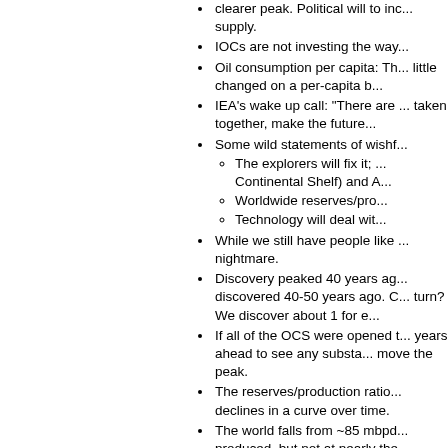clearer peak. Political will to increase supply.
IOCs are not investing the way...
Oil consumption per capita: Th... little changed on a per-capita b...
IEA's wake up call: "There are ... taken together, make the future...
Some wild statements of wishf...
The explorers will fix it; ... Continental Shelf) and A...
Worldwide reserves/pro...
Technology will deal wit...
While we still have people like ... nightmare.
Discovery peaked 40 years ag... discovered 40-50 years ago. C... turn? We discover about 1 for e...
If all of the OCS were opened t... years ahead to see any substa... move the peak.
The reserves/production ratio... declines in a curve over time.
The world falls from ~85 mbpd... produced, but not at nearly the...
New technology: Little indicatio... seems to be in dealing with un...
We're trying harder and drilling... has been flat.
Russian oil production was cou... from about 9.9 mbpd in 2007 t... whatever reason).
Consider that energy growth is...
High gasoline prices produced... 100-150 kbpd of gasoline cons...